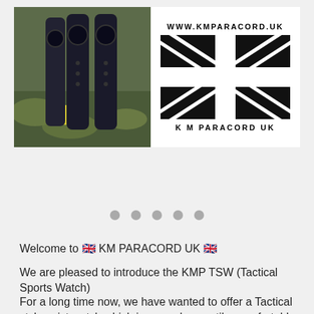[Figure (photo): Photo of tactical sports watches/watch straps on outdoor ground with leaves]
[Figure (logo): KM Paracord UK logo with Union Jack flag, URL www.kmparacord.uk and text K M PARACORD UK]
[Figure (infographic): Five grey circular dots indicating a carousel/slideshow navigation]
Welcome to 🇬🇧 KM PARACORD UK 🇬🇧
We are pleased to introduce the KMP TSW (Tactical Sports Watch)
For a long time now, we have wanted to offer a Tactical style wrist watch which is rugged, versatile, comfortable, fit for